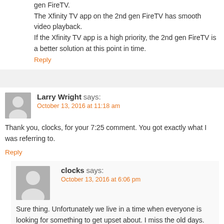gen FireTV.
The Xfinity TV app on the 2nd gen FireTV has smooth video playback.
If the Xfinity TV app is a high priority, the 2nd gen FireTV is a better solution at this point in time.
Reply
Larry Wright says:
October 13, 2016 at 11:18 am
Thank you, clocks, for your 7:25 comment. You got exactly what I was referring to.
Reply
clocks says:
October 13, 2016 at 6:06 pm
Sure thing. Unfortunately we live in a time when everyone is looking for something to get upset about. I miss the old days.